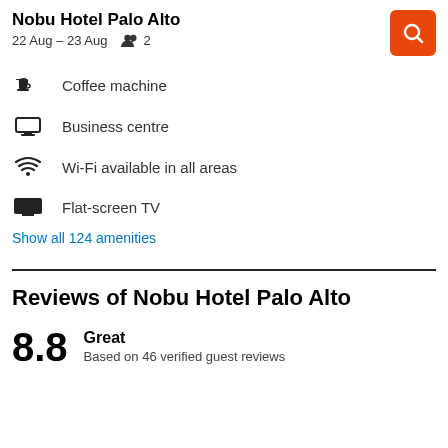Nobu Hotel Palo Alto
22 Aug – 23 Aug   2
Coffee machine
Business centre
Wi-Fi available in all areas
Flat-screen TV
Show all 124 amenities
Reviews of Nobu Hotel Palo Alto
8.8
Great
Based on 46 verified guest reviews